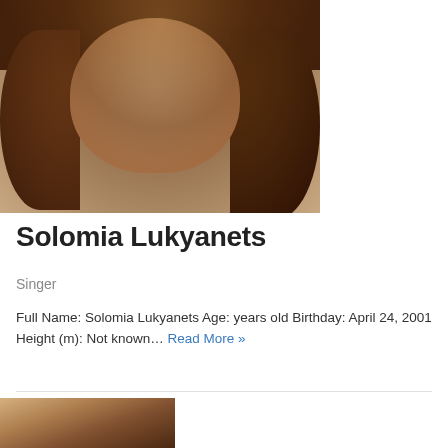[Figure (photo): Close-up portrait photo of Solomia Lukyanets, a young woman with curly brown hair]
Solomia Lukyanets
Singer
Full Name: Solomia Lukyanets Age: years old Birthday: April 24, 2001 Height (m): Not known... Read More »
[Figure (photo): Partial photo visible at bottom of page, appears to be another person portrait]